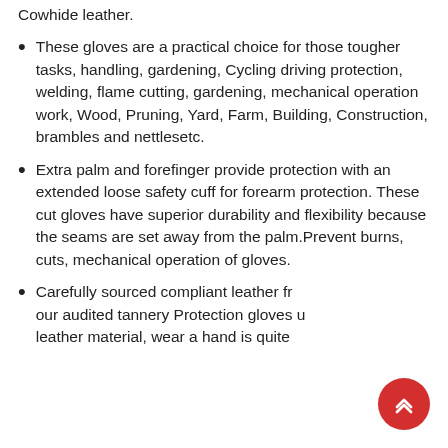Cowhide leather.
These gloves are a practical choice for those tougher tasks, handling, gardening, Cycling driving protection, welding, flame cutting, gardening, mechanical operation work, Wood, Pruning, Yard, Farm, Building, Construction, brambles and nettlesetc.
Extra palm and forefinger provide protection with an extended loose safety cuff for forearm protection. These cut gloves have superior durability and flexibility because the seams are set away from the palm.Prevent burns, cuts, mechanical operation of gloves.
Carefully sourced compliant leather from our audited tannery Protection gloves using leather material, wear a hand is quite